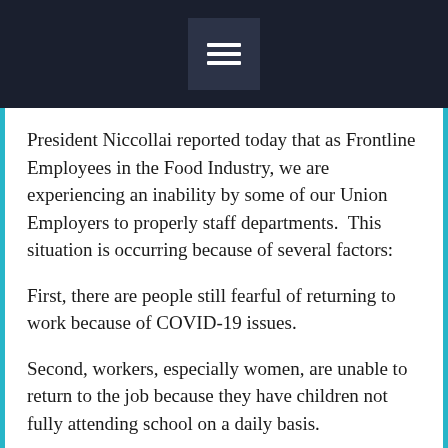≡
President Niccollai reported today that as Frontline Employees in the Food Industry, we are experiencing an inability by some of our Union Employers to properly staff departments.  This situation is occurring because of several factors:
First, there are people still fearful of returning to work because of COVID-19 issues.
Second, workers, especially women, are unable to return to the job because they have children not fully attending school on a daily basis.